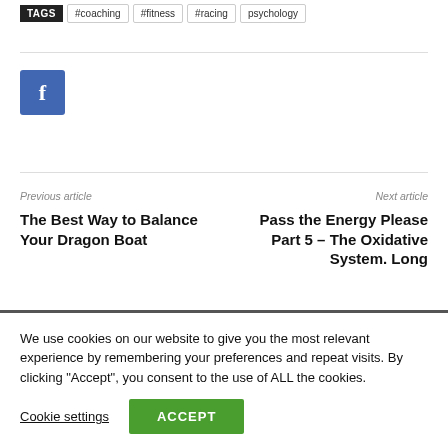TAGS #coaching #fitness #racing psychology
[Figure (other): Facebook share button (blue square with white letter f)]
Previous article
Next article
The Best Way to Balance Your Dragon Boat
Pass the Energy Please Part 5 – The Oxidative System. Long
We use cookies on our website to give you the most relevant experience by remembering your preferences and repeat visits. By clicking “Accept”, you consent to the use of ALL the cookies.
Cookie settings
ACCEPT